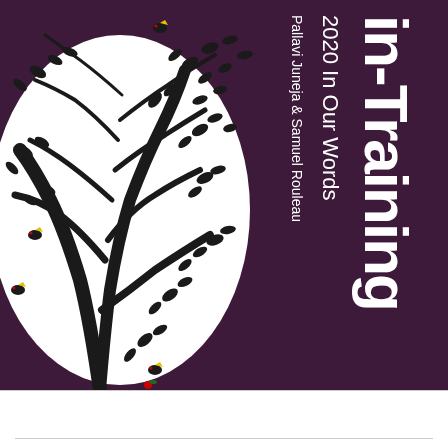[Figure (illustration): Book cover of 'in-Training 2020 In Our Words'. Left side shows a decorative illustration of black tree branches with dark oval leaves and small colorful birds (red, yellow, green) on a white background, set against a dark purple/maroon background. Right side has dark purple background with white rotated text showing the title, subtitle, and authors' names.]
in-Training
2020 In Our Words
Pallavi Juneja & Samuel Rouleau